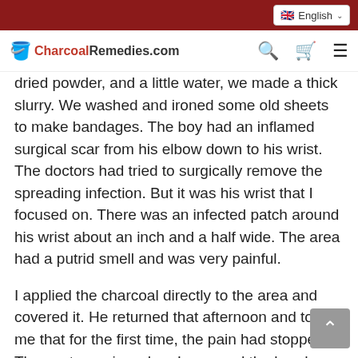CharcoalRemedies.com [nav bar with search, cart, menu icons] | English language selector
dried powder, and a little water, we made a thick slurry. We washed and ironed some old sheets to make bandages. The boy had an inflamed surgical scar from his elbow down to his wrist. The doctors had tried to surgically remove the spreading infection. But it was his wrist that I focused on. There was an infected patch around his wrist about an inch and a half wide. The area had a putrid smell and was very painful.
I applied the charcoal directly to the area and covered it. He returned that afternoon and told me that for the first time, the pain had stopped. The next morning when I removed the bandages there was no smell. The area showed new pink tissue. But the skin over